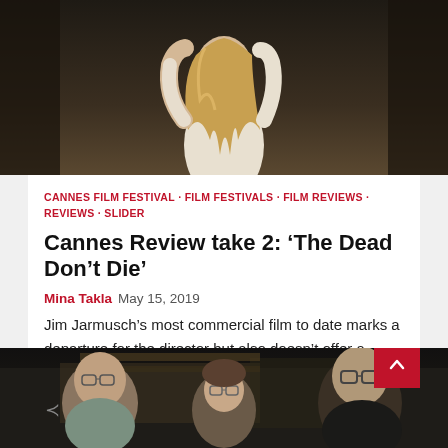[Figure (photo): Top portion of a promotional film photo — person with blonde hair wearing a white top, standing against a dark background.]
CANNES FILM FESTIVAL · FILM FESTIVALS · FILM REVIEWS · REVIEWS · SLIDER
Cannes Review take 2: 'The Dead Don't Die'
Mina Takla  May 15, 2019
Jim Jarmusch's most commercial film to date marks a departure for the director but also doesn't offer a memorable viewing experience. Some directors like to… Read More
[Figure (photo): Bottom portion of a film still showing three people — an older man with glasses on the left, a woman with glasses in the center, and a young man with glasses on the right, in a dark indoor setting.]